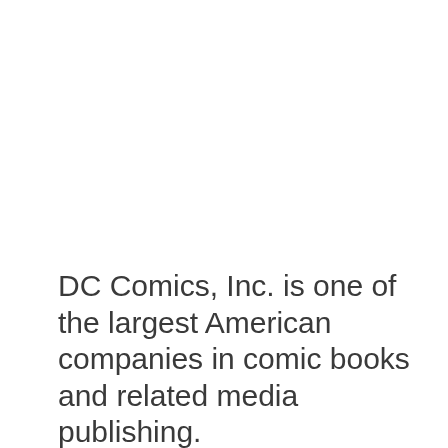DC Comics, Inc. is one of the largest American companies in comic books and related media publishing.